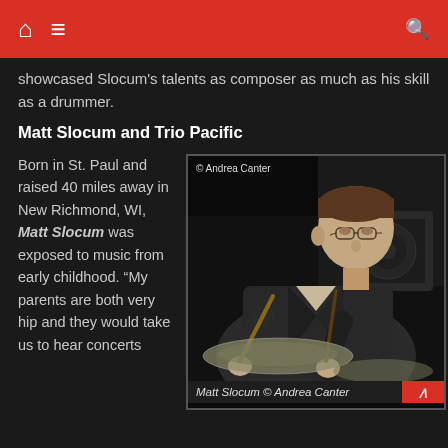Navigation bar with home, menu, and search icons
showcased Slocum's talents as composer as much as his skill as a drummer.
Matt Slocum and Trio Pacific
Born in St. Paul and raised 40 miles away in New Richmond, WI, Matt Slocum was exposed to music from early childhood. “My parents are both very hip and they would take us to hear concerts
[Figure (photo): Photo of Matt Slocum playing drums, wearing glasses and a dark blazer, leaning forward over a drum kit with drumsticks in hand. Photo credit: Andrea Canter.]
Matt Slocum © Andrea Canter